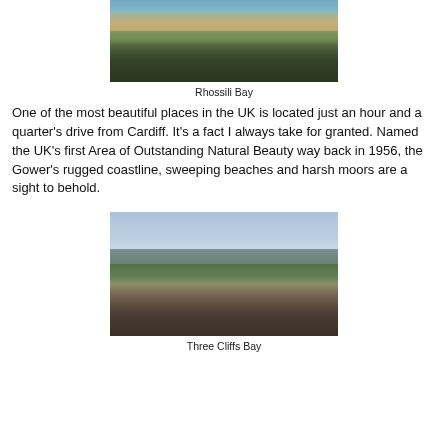[Figure (photo): Aerial/elevated view of Rhossili Bay beach, Gower Peninsula, Wales, showing a long sweeping sandy beach with sea on the left, green grassy headlands, and dark hills/cliffs in the background.]
Rhossili Bay
One of the most beautiful places in the UK is located just an hour and a quarter's drive from Cardiff. It's a fact I always take for granted. Named the UK's first Area of Outstanding Natural Beauty way back in 1956, the Gower's rugged coastline, sweeping beaches and harsh moors are a sight to behold.
[Figure (photo): Ground-level view of Three Cliffs Bay, Gower Peninsula, Wales, showing rocky cliffs/headlands in the middle distance under a cloudy sky, with sandy/rocky beach in the foreground and green grass on the left.]
Three Cliffs Bay